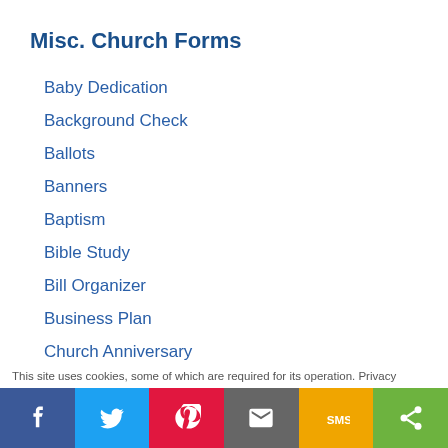Misc. Church Forms
Baby Dedication
Background Check
Ballots
Banners
Baptism
Bible Study
Bill Organizer
Business Plan
Church Anniversary
Church Audit
Church Board
This site uses cookies, some of which are required for its operation. Privacy